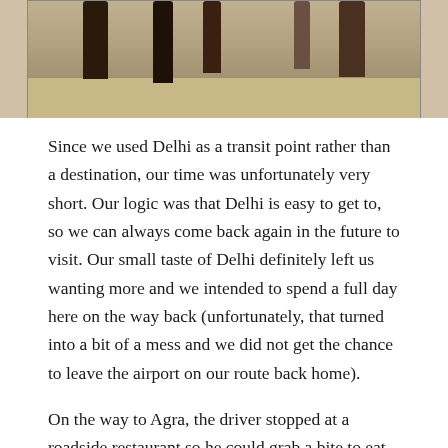[Figure (photo): Top portion of a photo showing people standing on a street or plaza, with ground visible below their feet. The image is cropped showing only the lower legs and feet of several individuals.]
Since we used Delhi as a transit point rather than a destination, our time was unfortunately very short. Our logic was that Delhi is easy to get to, so we can always come back again in the future to visit. Our small taste of Delhi definitely left us wanting more and we intended to spend a full day here on the way back (unfortunately, that turned into a bit of a mess and we did not get the chance to leave the airport on our route back home).
On the way to Agra, the driver stopped at a roadside restaurant so he could grab a bite to eat. We saw this man making naan bread. It looked and smelled so good that we decided to eat there too. I don't think we saw any foreigners there, but they did have English menus. This turned out to be one of the best meals we had in India. We ate and ate and ate